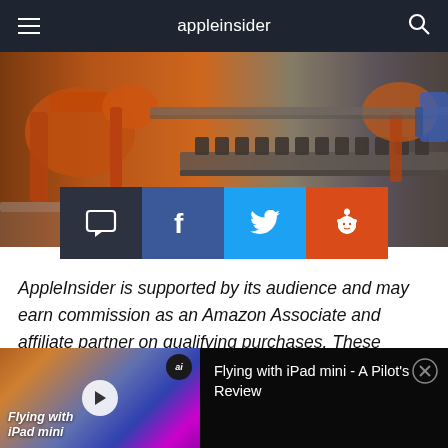appleinsider
[Figure (photo): Industrial robotic arms on a manufacturing assembly line, orange robots with mechanical components]
[Figure (infographic): Social sharing buttons: comment (dark), Facebook (blue), Twitter (light blue), Reddit (orange-red)]
AppleInsider is supported by its audience and may earn commission as an Amazon Associate and affiliate partner on qualifying purchases. These affiliate partnerships do not influence our editorial content.
If Apple is indeed hit by proposed U.S. tariffs on...
[Figure (screenshot): Video player bar at bottom: thumbnail of iPad mini video with play button and 'Flying with iPad mini' label, and title 'Flying with iPad mini - A Pilot's Review' on dark background]